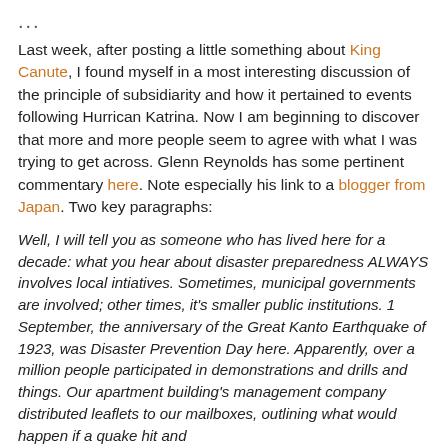...
Last week, after posting a little something about King Canute, I found myself in a most interesting discussion of the principle of subsidiarity and how it pertained to events following Hurrican Katrina. Now I am beginning to discover that more and more people seem to agree with what I was trying to get across. Glenn Reynolds has some pertinent commentary here. Note especially his link to a blogger from Japan. Two key paragraphs:
Well, I will tell you as someone who has lived here for a decade: what you hear about disaster preparedness ALWAYS involves local intiatives. Sometimes, municipal governments are involved; other times, it's smaller public institutions. 1 September, the anniversary of the Great Kanto Earthquake of 1923, was Disaster Prevention Day here. Apparently, over a million people participated in demonstrations and drills and things. Our apartment building's management company distributed leaflets to our mailboxes, outlining what would happen if a quake hit and